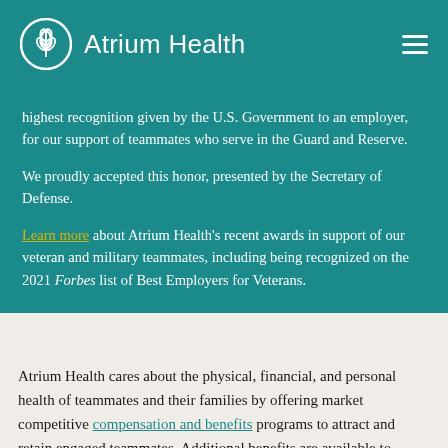Atrium Health
highest recognition given by the U.S. Government to an employer, for our support of teammates who serve in the Guard and Reserve.

We proudly accepted this honor, presented by the Secretary of Defense.

Learn more about Atrium Health's recent awards in support of our veteran and military teammates, including being recognized on the 2021 Forbes list of Best Employers for Veterans.
Atrium Health cares about the physical, financial, and personal health of teammates and their families by offering market competitive compensation and benefits programs to attract and retain engaged teammates. Additional benefits are available to